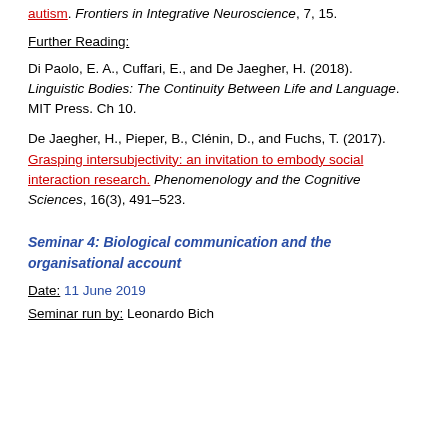autism. Frontiers in Integrative Neuroscience, 7, 15.
Further Reading:
Di Paolo, E. A., Cuffari, E., and De Jaegher, H. (2018). Linguistic Bodies: The Continuity Between Life and Language. MIT Press. Ch 10.
De Jaegher, H., Pieper, B., Clénin, D., and Fuchs, T. (2017). Grasping intersubjectivity: an invitation to embody social interaction research. Phenomenology and the Cognitive Sciences, 16(3), 491–523.
Seminar 4: Biological communication and the organisational account
Date: 11 June 2019
Seminar run by: Leonardo Bich